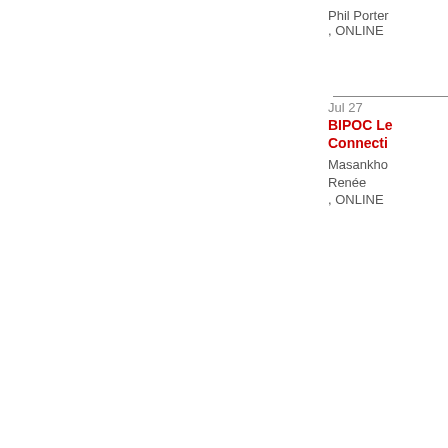Phil Porter
, ONLINE
Jul 27
BIPOC Le... Connecti...
Masankho...
Renée
, ONLINE